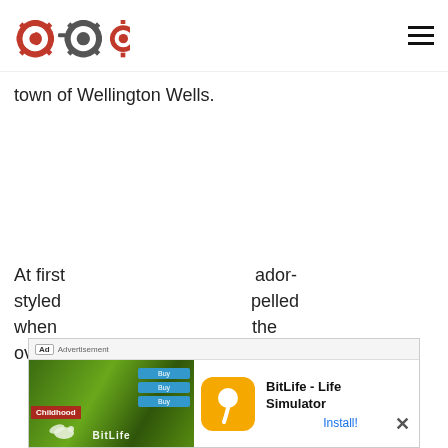COG logo and navigation hamburger menu
town of Wellington Wells.
At first styled when the overgr
[Figure (screenshot): Advertisement banner for BitLife - Life Simulator app. Shows 'Ad' label, app icon (orange background with white sperm icon), title 'BitLife - Life Simulator', childhood game images, and Install! button link.]